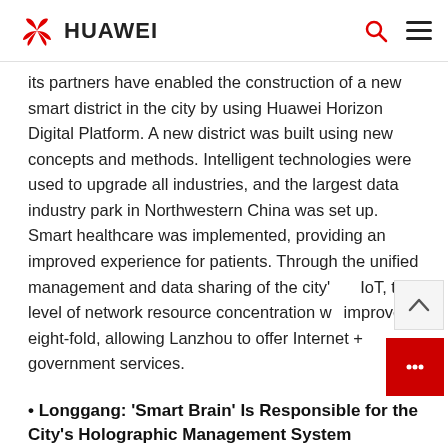HUAWEI
its partners have enabled the construction of a new smart district in the city by using Huawei Horizon Digital Platform. A new district was built using new concepts and methods. Intelligent technologies were used to upgrade all industries, and the largest data industry park in Northwestern China was set up. Smart healthcare was implemented, providing an improved experience for patients. Through the unified management and data sharing of the city's IoT, the level of network resource concentration was improved eight-fold, allowing Lanzhou to offer Internet + government services.
• Longgang: 'Smart Brain' Is Responsible for the City's Holographic Management System
In Longgang District, Shenzhen, China, Huawei